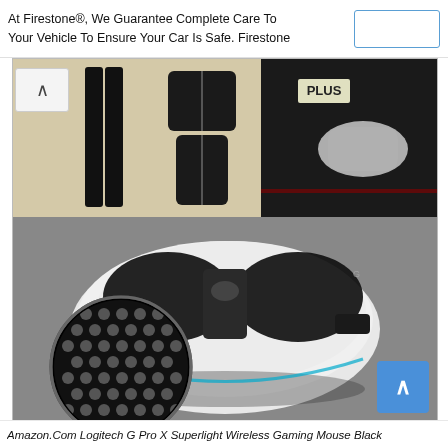At Firestone®, We Guarantee Complete Care To Your Vehicle To Ensure Your Car Is Safe. Firestone
[Figure (photo): Product photo of a white Logitech G Pro X Superlight wireless gaming mouse with black grip tape/skin applied to the buttons and sides. A circular close-up inset shows the textured honeycomb/mesh pattern of the grip material. In the upper portion of the image, flat layout diagrams of the grip pieces on a beige background are shown, along with the product packaging box featuring a silver mouse on dark packaging.]
Amazon.Com Logitech G Pro X Superlight Wireless Gaming Mouse Black